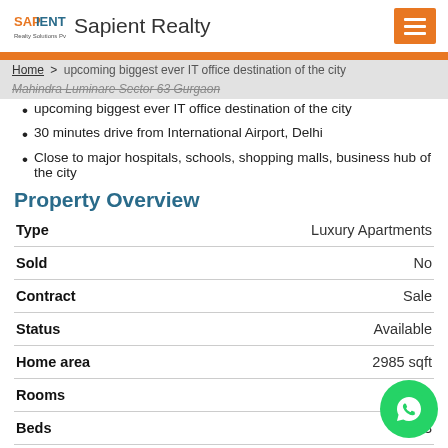Sapient Realty
upcoming biggest ever IT office destination of the city
30 minutes drive from International Airport, Delhi
Close to major hospitals, schools, shopping malls, business hub of the city
Property Overview
| Field | Value |
| --- | --- |
| Type | Luxury Apartments |
| Sold | No |
| Contract | Sale |
| Status | Available |
| Home area | 2985 sqft |
| Rooms |  |
| Beds | 3 |